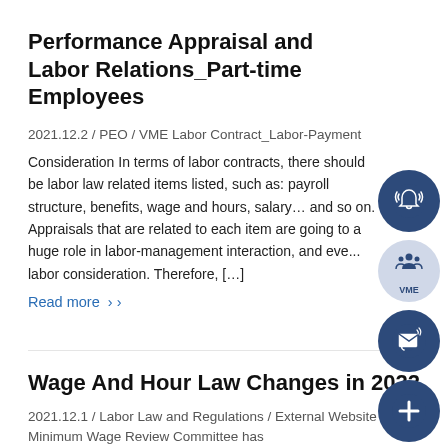Performance Appraisal and Labor Relations_Part-time Employees
2021.12.2 / PEO / VME Labor Contract_Labor-Payment Consideration In terms of labor contracts, there should be labor law related items listed, such as: payroll structure, benefits, wage and hours, salary… and so on. Appraisals that are related to each item are going to a huge role in labor-management interaction, and eve... labor consideration. Therefore, […]
Read more ›
Wage And Hour Law Changes in 2022
2021.12.1 / Labor Law and Regulations / External Website The Minimum Wage Review Committee has